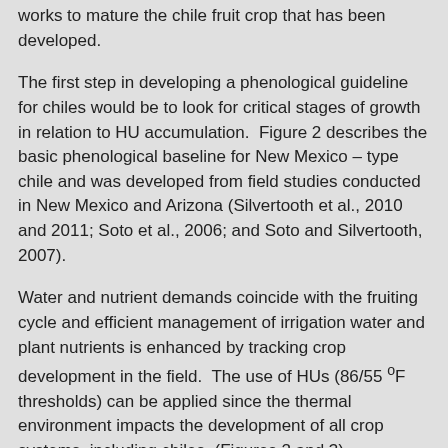works to mature the chile fruit crop that has been developed.
The first step in developing a phenological guideline for chiles would be to look for critical stages of growth in relation to HU accumulation.  Figure 2 describes the basic phenological baseline for New Mexico – type chile and was developed from field studies conducted in New Mexico and Arizona (Silvertooth et al., 2010 and 2011; Soto et al., 2006; and Soto and Silvertooth, 2007).
Water and nutrient demands coincide with the fruiting cycle and efficient management of irrigation water and plant nutrients is enhanced by tracking crop development in the field.  The use of HUs (86/55 °F thresholds) can be applied since the thermal environment impacts the development of all crop systems, including chiles, (Figures 2 and 3).